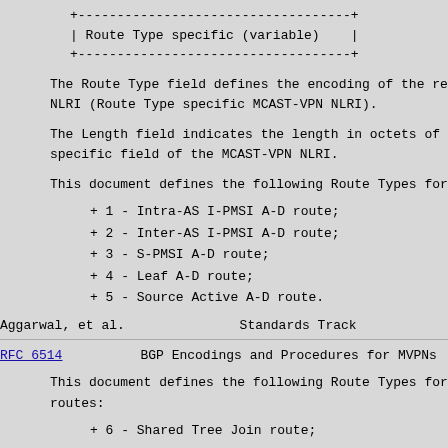+-----------------------------------+
| Route Type specific (variable)    |
+-----------------------------------+
The Route Type field defines the encoding of the rest NLRI (Route Type specific MCAST-VPN NLRI).
The Length field indicates the length in octets of the specific field of the MCAST-VPN NLRI.
This document defines the following Route Types for A-
+ 1 - Intra-AS I-PMSI A-D route;
+ 2 - Inter-AS I-PMSI A-D route;
+ 3 - S-PMSI A-D route;
+ 4 - Leaf A-D route;
+ 5 - Source Active A-D route.
Aggarwal, et al.                    Standards Track
RFC 6514          BGP Encodings and Procedures for MVPNs
This document defines the following Route Types for C- routes:
+ 6 - Shared Tree Join route;
+ 7 - Source Tree Join route;